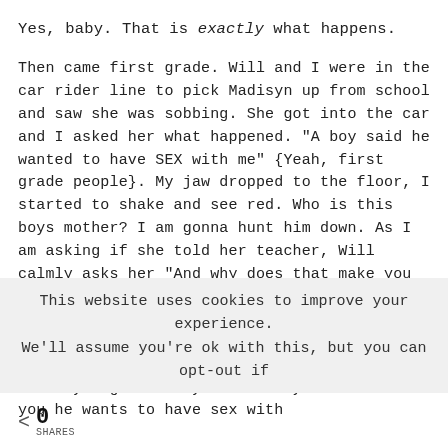Yes, baby. That is exactly what happens.
Then came first grade. Will and I were in the car rider line to pick Madisyn up from school and saw she was sobbing. She got into the car and I asked her what happened. "A boy said he wanted to have SEX with me" {Yeah, first grade people}. My jaw dropped to the floor, I started to shake and see red. Who is this boys mother? I am gonna hunt him down. As I am asking if she told her teacher, Will calmly asks her "And why does that make you so upset"? She stopped crying looked at us both and said "When a boy wants to have sex with you it means he wants to KILL you". Trying not to laugh, Will told her "You are exactly right Madisyn. If a boy ever tells you he wants to have sex with
This website uses cookies to improve your experience. We'll assume you're ok with this, but you can opt-out if
0 SHARES